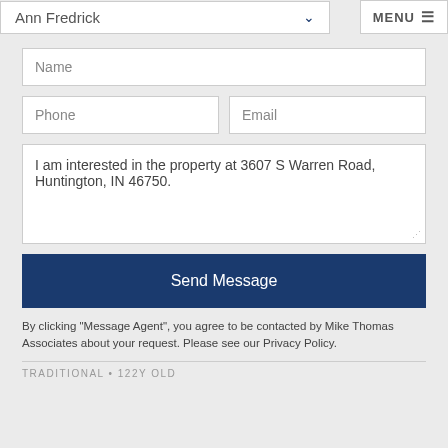Ann Fredrick
MENU
Name
Phone
Email
I am interested in the property at 3607 S Warren Road, Huntington, IN 46750.
Send Message
By clicking "Message Agent", you agree to be contacted by Mike Thomas Associates about your request. Please see our Privacy Policy.
TRADITIONAL • 122Y OLD